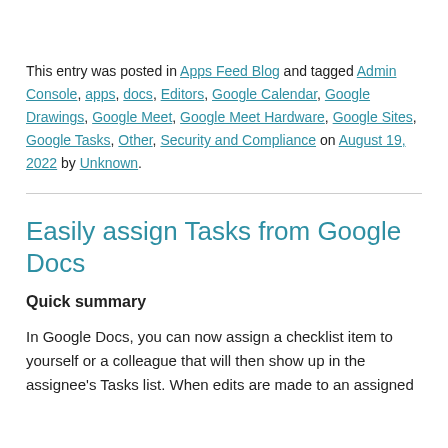This entry was posted in Apps Feed Blog and tagged Admin Console, apps, docs, Editors, Google Calendar, Google Drawings, Google Meet, Google Meet Hardware, Google Sites, Google Tasks, Other, Security and Compliance on August 19, 2022 by Unknown.
Easily assign Tasks from Google Docs
Quick summary
In Google Docs, you can now assign a checklist item to yourself or a colleague that will then show up in the assignee's Tasks list. When edits are made to an assigned